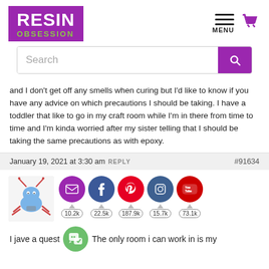[Figure (logo): Resin Obsession logo with purple background showing RESIN in white bold text and OBSESSION in green text below]
[Figure (infographic): Navigation icons: hamburger menu and shopping cart icon in purple]
[Figure (screenshot): Search bar with purple search button]
and I don’t get off any smells when curing but I’d like to know if you have any advice on which precautions I should be taking. I have a toddler that like to go in my craft room while I’m in there from time to time and I’m kinda worried after my sister telling that I should be taking the same precautions as with epoxy.
January 19, 2021 at 3:30 am REPLY #91634
[Figure (infographic): User avatar (crab cartoon) and social sharing icons: email (purple), Facebook (blue), Pinterest (red), Instagram (blue), YouTube (red). Follower counts: 10.2k, 22.5k, 187.9k, 15.7k, 73.1k]
I jave a quest... The only room i can work in is my